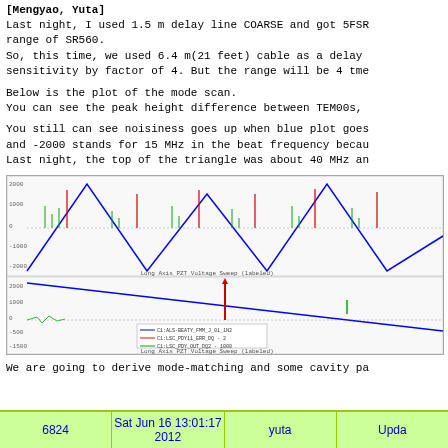[Mengyao, Yuta]
Last night, I used 1.5 m delay line COARSE and got 5FSR
range of SR560.
So, this time, we used 6.4 m(21 feet) cable as a delay
sensitivity by factor of 4. But the range will be 4 tme
Below is the plot of the mode scan.
You can see the peak height difference between TEM00s,
You still can see noisiness goes up when blue plot goes
and -2000 stands for 15 MHz in the beat frequency becau
Last night, the top of the triangle was about 40 MHz an
[Figure (continuous-plot): Top panel: triangular wave (blue) with vertical spike signals (red and green) representing cavity mode scan. Bottom panel: declining blue line with a prominent red spike peak near center and a smaller green feature, with legend entries for multiple data series. Both panels share horizontal axis with tick marks.]
We are going to derive mode-matching and some cavity pa
6824    Sat Jun 16 13:01:17 2012    yuta    Upda